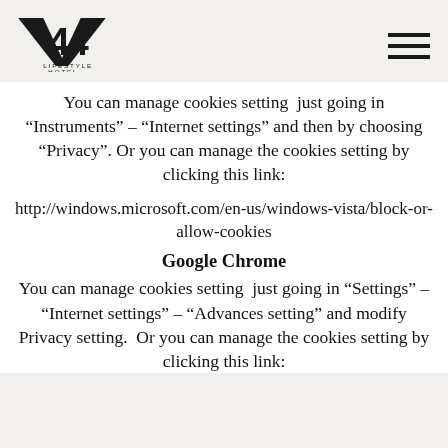V44 Lifestyle Hotel logo and navigation
You can manage cookies setting just going in “Instruments” – “Internet settings” and then by choosing “Privacy”. Or you can manage the cookies setting by clicking this link:
http://windows.microsoft.com/en-us/windows-vista/block-or-allow-cookies
Google Chrome
You can manage cookies setting just going in “Settings” – “Internet settings” – “Advances setting” and modify Privacy setting. Or you can manage the cookies setting by clicking this link: